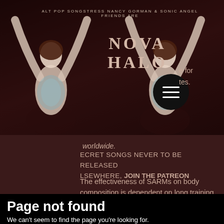[Figure (illustration): Nova Halo band promotional banner with two female figures in artistic poses, dark red/brown background, with text 'ALT POP SONGSTRESS NANCY GORMAN & SONIC ANGEL FRIENDS ARE' above 'NOVA HALO' title, hamburger menu circle, and Spotify logo overlay]
worldwide.
SECRET SONGS NEVER TO BE RELEASED ELSEWHERE, JOIN THE PATREON
The effectiveness of SARMs on body composition is dependent on long training. While it can not be said that low calorie diets do not induce weight loss in short time periods. On average and depending on the individual, body composition changes are quite rapid upon diet and exercise. One to two weeks after the onset of weight loss the body fat will return to normal and the SARMs are still effective to assist in weight loss.
The body composition gains made upon diet or exercise are primarily responsible for the
Page not found
We can't seem to find the page you're looking for.